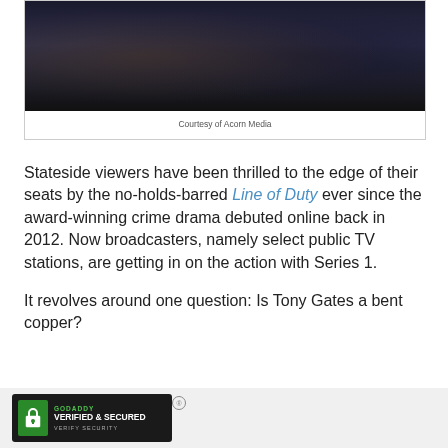[Figure (photo): Dark photograph of two people, partially visible, dark tones with navy and black clothing]
Courtesy of Acorn Media
Stateside viewers have been thrilled to the edge of their seats by the no-holds-barred Line of Duty ever since the award-winning crime drama debuted online back in 2012. Now broadcasters, namely select public TV stations, are getting in on the action with Series 1.
It revolves around one question: Is Tony Gates a bent copper?
[Figure (logo): GoDaddy Verified & Secured badge with lock icon]